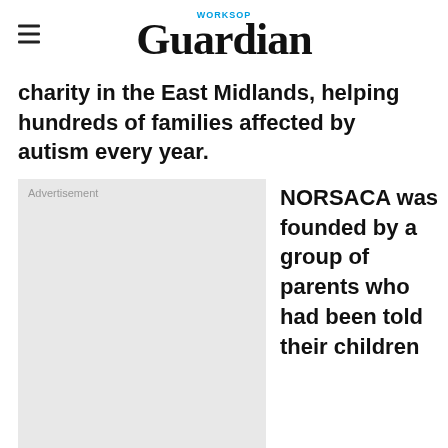Worksop Guardian
charity in the East Midlands, helping hundreds of families affected by autism every year.
[Figure (other): Advertisement placeholder box with light grey background]
NORSACA was founded by a group of parents who had been told their children could not be educated.